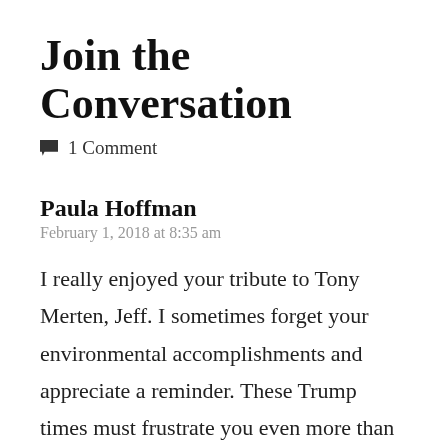Join the Conversation
1 Comment
Paula Hoffman
February 1, 2018 at 8:35 am
I really enjoyed your tribute to Tony Merten, Jeff. I sometimes forget your environmental accomplishments and appreciate a reminder. These Trump times must frustrate you even more than they do Biff and me. After he is out of office there will be a lot of work to do to put back protections we have lost during his presidency. Sucks!!